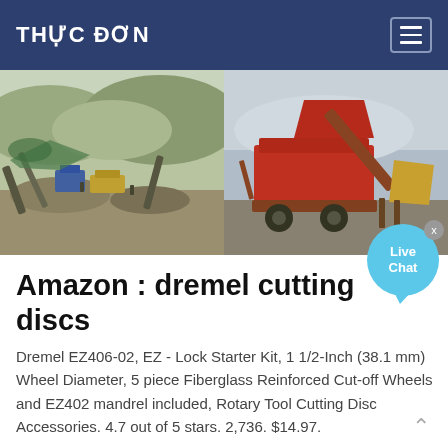THỰC ĐƠN
[Figure (photo): Two side-by-side photos of industrial stone crushing / quarry equipment at an outdoor mining site. Left photo shows conveyor belts, crushers and gravel piles; right photo shows a large red mobile crushing machine.]
Amazon : dremel cutting discs
Dremel EZ406-02, EZ - Lock Starter Kit, 1 1/2-Inch (38.1 mm) Wheel Diameter, 5 piece Fiberglass Reinforced Cut-off Wheels and EZ402 mandrel included, Rotary Tool Cutting Disc Accessories. 4.7 out of 5 stars. 2,736. $14.97.